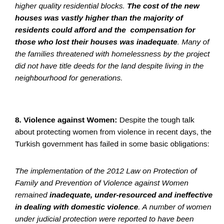higher quality residential blocks. The cost of the new houses was vastly higher than the majority of residents could afford and the compensation for those who lost their houses was inadequate. Many of the families threatened with homelessness by the project did not have title deeds for the land despite living in the neighbourhood for generations.
8. Violence against Women: Despite the tough talk about protecting women from violence in recent days, the Turkish government has failed in some basic obligations:
The implementation of the 2012 Law on Protection of Family and Prevention of Violence against Women remained inadequate, under-resourced and ineffective in dealing with domestic violence. A number of women under judicial protection were reported to have been killed.